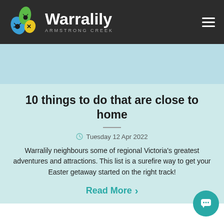Warralily Armstrong Creek
10 things to do that are close to home
Tuesday 12 Apr 2022
Warralily neighbours some of regional Victoria's greatest adventures and attractions. This list is a surefire way to get your Easter getaway started on the right track!
Read More >